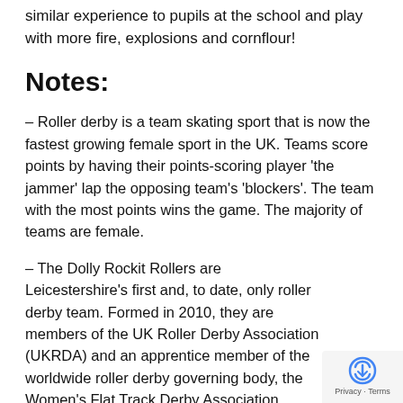similar experience to pupils at the school and play with more fire, explosions and cornflour!
Notes:
– Roller derby is a team skating sport that is now the fastest growing female sport in the UK. Teams score points by having their points-scoring player 'the jammer' lap the opposing team's 'blockers'. The team with the most points wins the game. The majority of teams are female.
– The Dolly Rockit Rollers are Leicestershire's first and, to date, only roller derby team. Formed in 2010, they are members of the UK Roller Derby Association (UKRDA) and an apprentice member of the worldwide roller derby governing body, the Women's Flat Track Derby Association (WFTDA). They currently number around 60